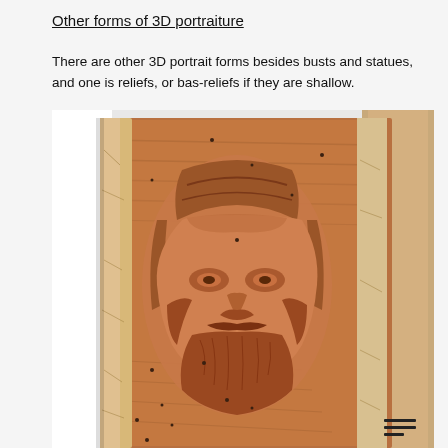Other forms of 3D portraiture
There are other 3D portrait forms besides busts and statues, and one is reliefs, or bas-reliefs if they are shallow.
[Figure (photo): A wood carving bas-relief of an old man's face with a beard and hat, carved into a wooden plank with natural bark edges visible on the sides.]